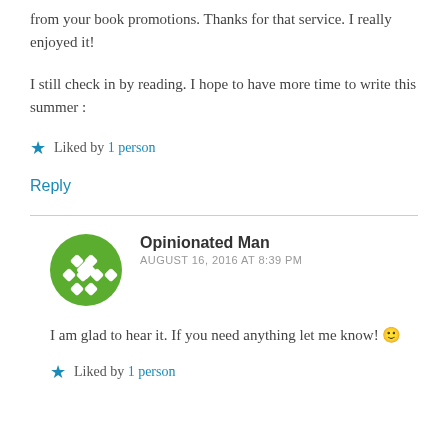from your book promotions. Thanks for that service. I really enjoyed it!
I still check in by reading. I hope to have more time to write this summer :
Liked by 1 person
Reply
Opinionated Man
AUGUST 16, 2016 AT 8:39 PM
I am glad to hear it. If you need anything let me know! 🙂
Liked by 1 person